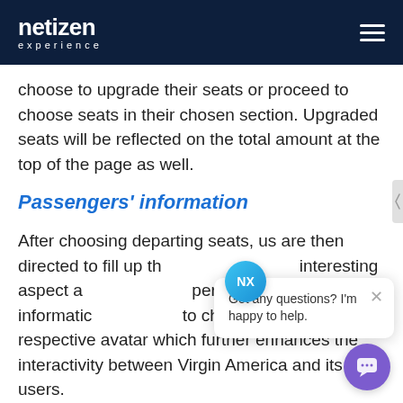netizen experience
choose to upgrade their seats or proceed to choose seats in their chosen section. Upgraded seats will be reflected on the total amount at the top of the page as well.
Passengers' information
After choosing departing seats, users are then directed to fill up the interesting aspect and personal information, to choose their own respective avatar which further enhances the interactivity between Virgin America and its users.
[Figure (other): Chat popup widget with NX avatar circle, close button, text 'Got any questions? I'm happy to help.' and purple chat bubble button]